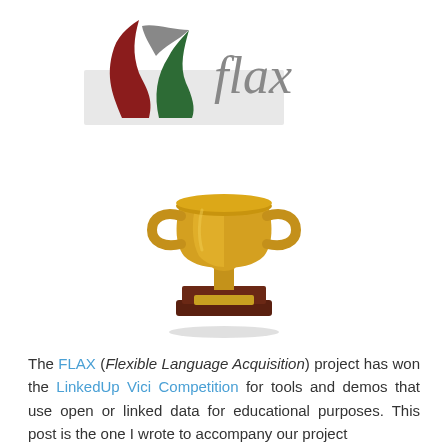[Figure (logo): FLAX logo: two stylized red and green flame/leaf shapes with a grey swoosh, next to italic grey text 'flax', with a light grey rectangle behind the lower portion of the marks]
[Figure (illustration): Gold trophy cup with two handles on a dark wooden base with a gold plaque, casting a slight shadow]
The FLAX (Flexible Language Acquisition) project has won the LinkedUp Vici Competition for tools and demos that use open or linked data for educational purposes. This post is the one I wrote to accompany our project